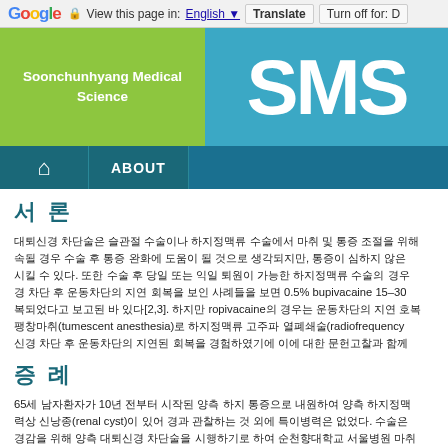Google  View this page in: English ▼  Translate  Turn off for: D
[Figure (logo): Soonchunhyang Medical Science (SMS) journal header logo with green left panel and blue right panel with large SMS text]
🏠  ABOUT
서 론
대퇴신경 차단술은 슬관절 수술이나 하지정맥류 수술에서 마취 및 통증 조절을 위해 속될 경우 수술 후 통증 완화에 도움이 될 것으로 생각되지만, 통증이 심하지 않은 시킬 수 있다. 또한 수술 후 당일 또는 익일 퇴원이 가능한 하지정맥류 수술의 경우 경 차단 후 운동차단의 지연 회복을 보인 사례들을 보면 0.5% bupivacaine 15-30 복되었다고 보고된 바 있다[2,3]. 하지만 ropivacaine의 경우는 운동차단의 지연 회복 팽창마취(tumescent anesthesia)로 하지정맥류 고주파 열폐쇄술(radiofrequency 신경 차단 후 운동차단의 지연된 회복을 경험하였기에 이에 대한 문헌고찰과 함께
증 례
65세 남자환자가 10년 전부터 시작된 양측 하지 통증으로 내원하여 양측 하지정맥 력상 신낭종(renal cyst)이 있어 경과 관찰하는 것 외에 특이병력은 없었다. 수술은 경감을 위해 양측 대퇴신경 차단술을 시행하기로 하여 순천향대학교 서울병원 마취 에서 초음파를 이용하여 대퇴동맥 외측에 위치하는 대퇴신경을 찾은 후 인측에서